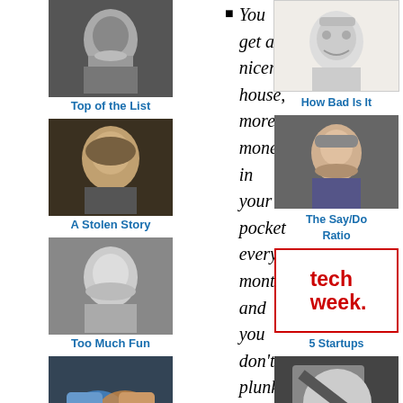[Figure (photo): Black and white photo of a man with mustache]
Top of the List
[Figure (photo): Photo of Albert Einstein]
A Stolen Story
[Figure (photo): Photo of an old man smiling]
Too Much Fun
[Figure (photo): Photo of two hands shaking, one blue gloved]
How Hyperlocal Social Economies Evolve
You get a nicer house, more money in your pocket every month, and you don't plunk down any up-front money at all—nada.
With an offer like that, who wants to rob their bank account or take out a loan? Who wants to wait years fer
[Figure (photo): Photo of a smiling woman with a red scarf]
[Figure (illustration): Cartoon/sketch illustration of a person with glasses]
How Bad Is It
[Figure (photo): Photo of a politician or official man]
The Say/Do Ratio
[Figure (logo): TechWeek logo in red on white background]
5 Startups
[Figure (photo): Photo of a hand with LIAR written on it]
Liar
[Figure (photo): Blue/colorful photo at bottom right]